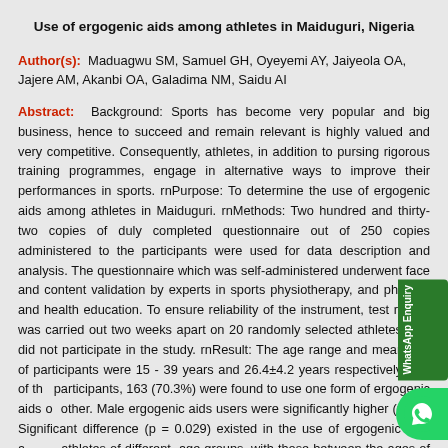Use of ergogenic aids among athletes in Maiduguri, Nigeria
Author(s): Maduagwu SM, Samuel GH, Oyeyemi AY, Jaiyeola OA, Jajere AM, Akanbi OA, Galadima NM, Saidu AI
Abstract: Background: Sports has become very popular and big business, hence to succeed and remain relevant is highly valued and very competitive. Consequently, athletes, in addition to pursing rigorous training programmes, engage in alternative ways to improve their performances in sports. rnPurpose: To determine the use of ergogenic aids among athletes in Maiduguri. rnMethods: Two hundred and thirty-two copies of duly completed questionnaire out of 250 copies administered to the participants were used for data description and analysis. The questionnaire which was self-administered underwent face and content validation by experts in sports physiotherapy, and physical and health education. To ensure reliability of the instrument, test retest was carried out two weeks apart on 20 randomly selected athletes who did not participate in the study. rnResult: The age range and mean age of participants were 15 - 39 years and 26.4±4.2 years respectively. Out of the participants, 163 (70.3%) were found to use one form of ergogenic aids or other. Male ergogenic aids users were significantly higher (p = 0. Significant difference (p = 0.029) existed in the use of ergogenic aids among athletes of different age groups, with those between the ages of 20 and years constituting the majority. There was a weak but significant association (p = 0.047) in the use of ergogenic aids among athletes in different categories